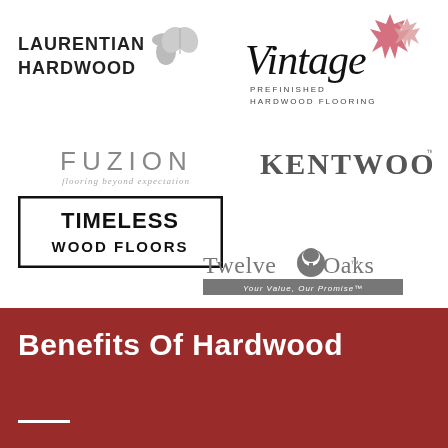[Figure (logo): Laurentian Hardwood logo with acorn and oak leaf graphics]
[Figure (logo): Vintage Prefinished Hardwood Flooring logo with decorative maple leaf]
[Figure (logo): Fuzion Flooring logo — flooring beyond expectation]
[Figure (logo): Kentwood logo in large serif-style uppercase letters]
[Figure (logo): Timeless Wood Floors logo in bold black box border]
[Figure (logo): Twelve Oaks logo — Your Value, Our Promise]
Benefits Of Hardwood